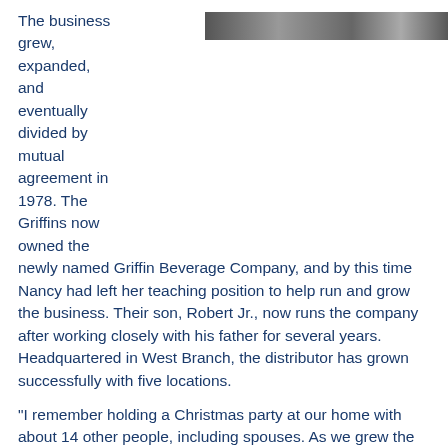[Figure (photo): A horizontal banner photograph, appears to be a greyscale/sepia image of people or a scene, partially visible at the top right of the page.]
The business grew, expanded, and eventually divided by mutual agreement in 1978. The Griffins now owned the newly named Griffin Beverage Company, and by this time Nancy had left her teaching position to help run and grow the business. Their son, Robert Jr., now runs the company after working closely with his father for several years. Headquartered in West Branch, the distributor has grown successfully with five locations.
“I remember holding a Christmas party at our home with about 14 other people, including spouses. As we grew the business over the years, we needed to add warehouses, more trucks, and of course, more employees,” says Nancy. “Bob and I always had the desire to share our blessings with our community, and worked hard together